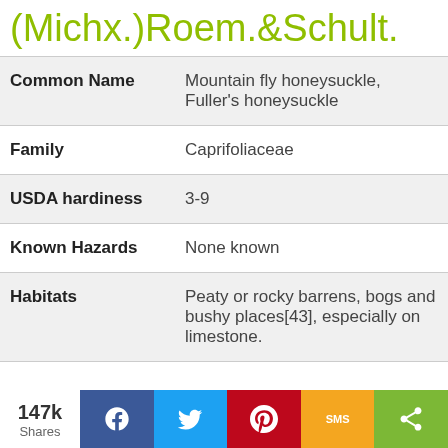(Michx.)Roem.&Schult.
| Common Name | Mountain fly honeysuckle, Fuller's honeysuckle |
| Family | Caprifoliaceae |
| USDA hardiness | 3-9 |
| Known Hazards | None known |
| Habitats | Peaty or rocky barrens, bogs and bushy places[43], especially on limestone. |
147k Shares | Facebook | Twitter | Pinterest | SMS | Share